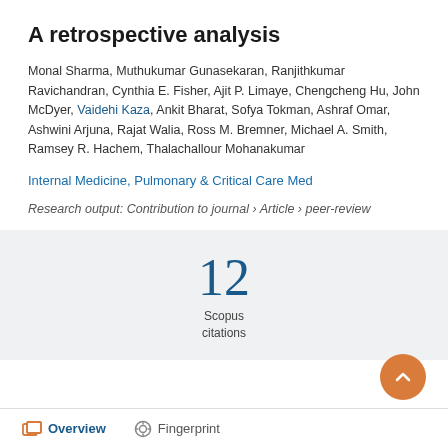A retrospective analysis
Monal Sharma, Muthukumar Gunasekaran, Ranjithkumar Ravichandran, Cynthia E. Fisher, Ajit P. Limaye, Chengcheng Hu, John McDyer, Vaidehi Kaza, Ankit Bharat, Sofya Tokman, Ashraf Omar, Ashwini Arjuna, Rajat Walia, Ross M. Bremner, Michael A. Smith, Ramsey R. Hachem, Thalachallour Mohanakumar
Internal Medicine, Pulmonary & Critical Care Med
Research output: Contribution to journal › Article › peer-review
12 Scopus citations
Overview  Fingerprint